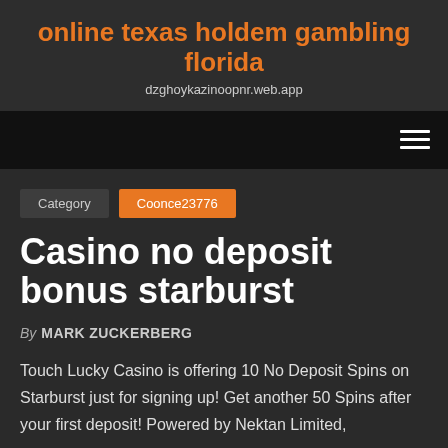online texas holdem gambling florida
dzghoykazinoopnr.web.app
Category   Coonce23776
Casino no deposit bonus starburst
By MARK ZUCKERBERG
Touch Lucky Casino is offering 10 No Deposit Spins on Starburst just for signing up! Get another 50 Spins after your first deposit! Powered by Nektan Limited,